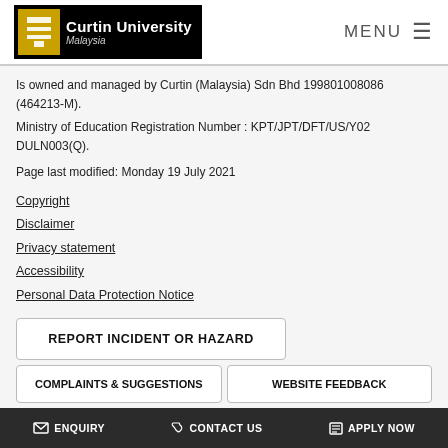Curtin University Malaysia | MENU
Is owned and managed by Curtin (Malaysia) Sdn Bhd 199801008086 (464213-M).
Ministry of Education Registration Number : KPT/JPT/DFT/US/Y02 DULN003(Q).
Page last modified: Monday 19 July 2021
Copyright
Disclaimer
Privacy statement
Accessibility
Personal Data Protection Notice
REPORT INCIDENT OR HAZARD
COMPLAINTS & SUGGESTIONS
WEBSITE FEEDBACK
ENQUIRY   CONTACT US   APPLY NOW